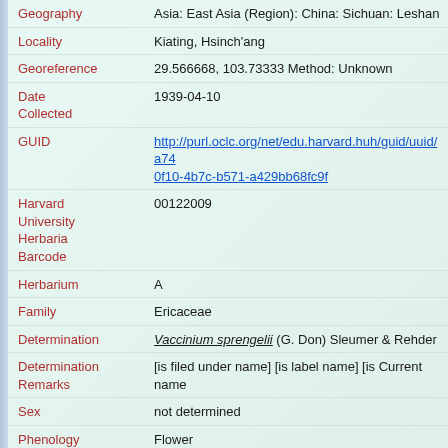| Field | Value |
| --- | --- |
| Geography | Asia: East Asia (Region): China: Sichuan: Leshan |
| Locality | Kiating, Hsinch'ang |
| Georeference | 29.566668, 103.73333 Method: Unknown |
| Date Collected | 1939-04-10 |
| GUID | http://purl.oclc.org/net/edu.harvard.huh/guid/uuid/a740f10-4b7c-b571-a429bb68fc9f |
| Harvard University Herbaria Barcode | 00122009 |
| Herbarium | A |
| Family | Ericaceae |
| Determination | Vaccinium sprengelii (G. Don) Sleumer & Rehder |
| Determination Remarks | [is filed under name] [is label name] [is Current name] |
| Sex | not determined |
| Phenology | Flower |
| Preparation Type | Sheet |
| Preparation Method | Pressed |